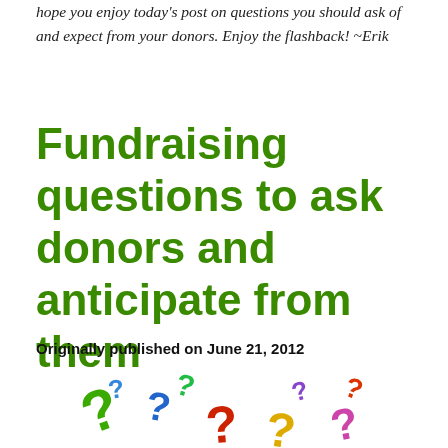hope you enjoy today's post on questions you should ask of and expect from your donors. Enjoy the flashback!  ~Erik
Fundraising questions to ask donors and anticipate from them
Originally published on June 21, 2012
[Figure (photo): Colorful question mark symbols scattered on a white surface]